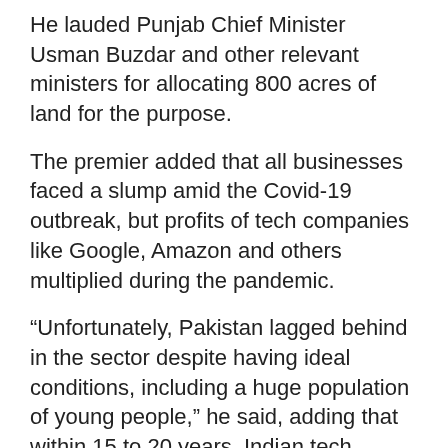He lauded Punjab Chief Minister Usman Buzdar and other relevant ministers for allocating 800 acres of land for the purpose.
The premier added that all businesses faced a slump amid the Covid-19 outbreak, but profits of tech companies like Google, Amazon and others multiplied during the pandemic.
“Unfortunately, Pakistan lagged behind in the sector despite having ideal conditions, including a huge population of young people,” he said, adding that within 15 to 20 years, Indian tech exports boomed to $150 billion while Pakistan’s could reach only $2 billion.”
He said the country had started achieving economic growth but the current account got disturbed owing to the import of machinery that ultimately devalued the local currency and compelled the government to approach the